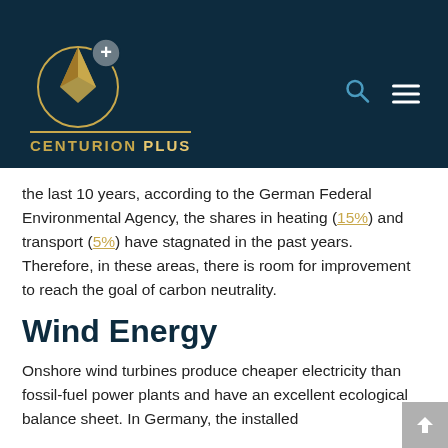CENTURION PLUS
the last 10 years, according to the German Federal Environmental Agency, the shares in heating (15%) and transport (5%) have stagnated in the past years. Therefore, in these areas, there is room for improvement to reach the goal of carbon neutrality.
Wind Energy
Onshore wind turbines produce cheaper electricity than fossil-fuel power plants and have an excellent ecological balance sheet. In Germany, the installed